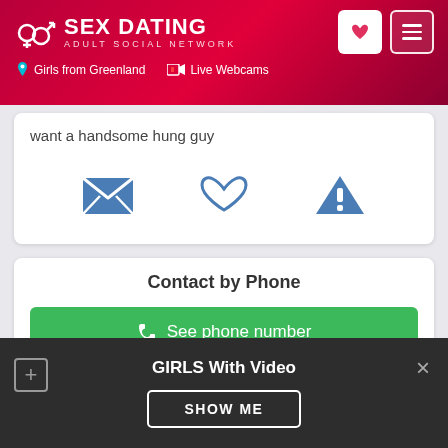SEX DATING ADULT SOCIAL NETWORK - Girls from Greenland | Live Webcams
want a handsome hung guy
[Figure (infographic): Three action icons: envelope/message icon, heart/favorite icon, and warning/report triangle icon]
Contact by Phone
See phone number
GIRLS With Video
SHOW ME